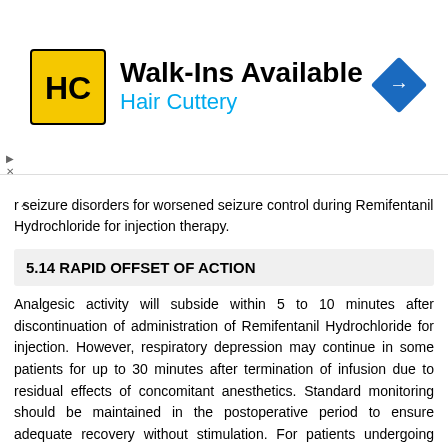[Figure (other): Hair Cuttery advertisement banner with logo, 'Walk-Ins Available' headline, and navigation icon]
r seizure disorders for worsened seizure control during Remifentanil Hydrochloride for injection therapy.
5.14 RAPID OFFSET OF ACTION
Analgesic activity will subside within 5 to 10 minutes after discontinuation of administration of Remifentanil Hydrochloride for injection. However, respiratory depression may continue in some patients for up to 30 minutes after termination of infusion due to residual effects of concomitant anesthetics. Standard monitoring should be maintained in the postoperative period to ensure adequate recovery without stimulation. For patients undergoing surgical procedures where postoperative pain is generally anticipated, other analgesics should be administered prior to the discontinuation of Remifentanil Hydrochloride for